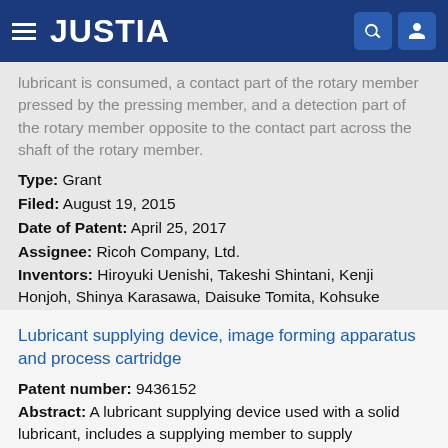JUSTIA
lubricant is consumed, a contact part of the rotary member pressed by the pressing member, and a detection part of the rotary member opposite to the contact part across the shaft of the rotary member.
Type: Grant
Filed: August 19, 2015
Date of Patent: April 25, 2017
Assignee: Ricoh Company, Ltd.
Inventors: Hiroyuki Uenishi, Takeshi Shintani, Kenji Honjoh, Shinya Karasawa, Daisuke Tomita, Kohsuke Yamamoto, Norio Kudo
Lubricant supplying device, image forming apparatus and process cartridge
Patent number: 9436152
Abstract: A lubricant supplying device used with a solid lubricant, includes a supplying member to supply